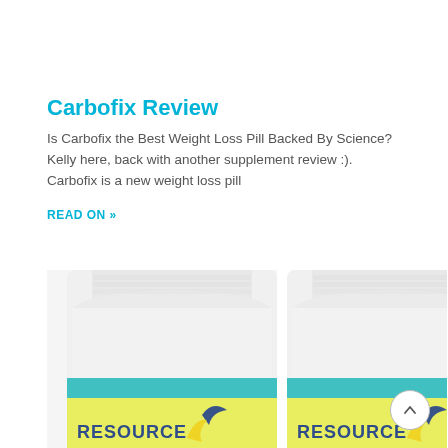Carbofix Review
Is Carbofix the Best Weight Loss Pill Backed By Science? Kelly here, back with another supplement review :). Carbofix is a new weight loss pill
READ ON »
[Figure (photo): Two white supplement pill bottles with teal and yellow labels showing Resource logo with blue arrow, viewed from above cropped showing tops and upper label area]